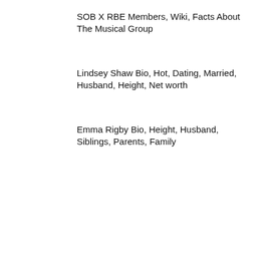SOB X RBE Members, Wiki, Facts About The Musical Group
Lindsey Shaw Bio, Hot, Dating, Married, Husband, Height, Net worth
Emma Rigby Bio, Height, Husband, Siblings, Parents, Family